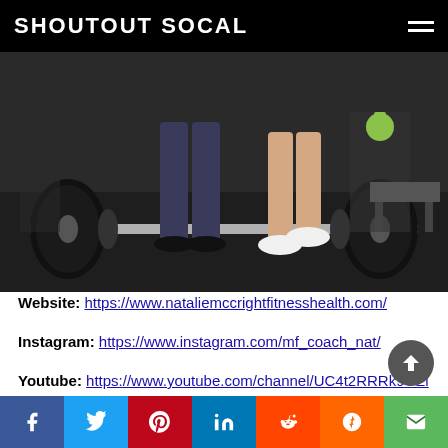SHOUTOUT SOCAL
[Figure (photo): Gym photo showing people's legs with a loaded barbell on the floor of a gym, equipment visible in the background.]
Website: https://www.nataliemccrightfitnesshealth.com/
Instagram: https://www.instagram.com/mf_coach_nat/
Youtube: https://www.youtube.com/channel/UC4t2RRRk9CElhTUyxDt43MA